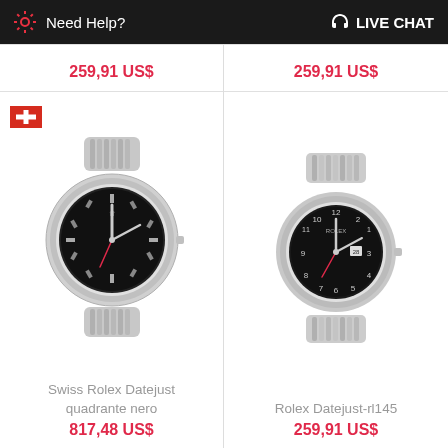Need Help? LIVE CHAT
259,91 US$
259,91 US$
[Figure (photo): Rolex Datejust watch with black dial, silver fluted bezel and president bracelet, with Swiss flag icon in top-left corner]
[Figure (photo): Rolex Datejust-rl145 watch with black dial showing Arabic numerals, silver fluted bezel and jubilee bracelet]
Swiss Rolex Datejust quadrante nero
Rolex Datejust-rl145
817,48 US$
259,91 US$